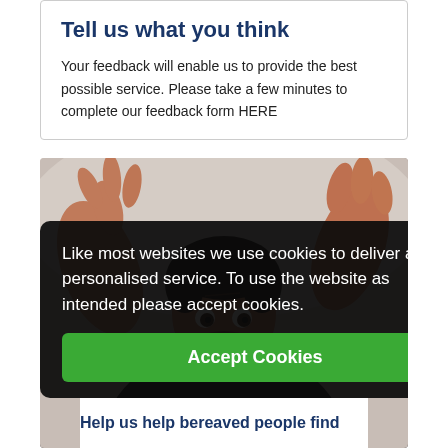Tell us what you think
Your feedback will enable us to provide the best possible service. Please take a few minutes to complete our feedback form HERE
[Figure (photo): A man raising both hands toward the camera with a surprised or welcoming expression, photographed against a light background.]
Like most websites we use cookies to deliver a personalised service. To use the website as intended please accept cookies.
Accept Cookies
Help us help bereaved people find